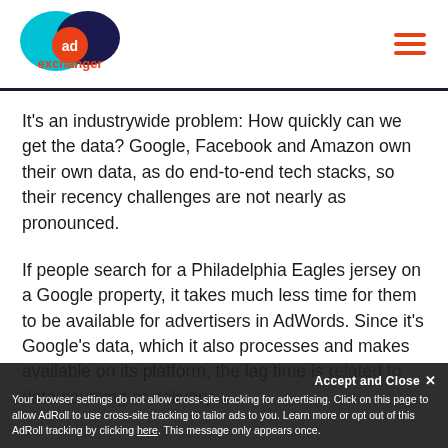[Figure (logo): AdExchanger logo with teal and dark blue overlapping circles and orange 'ad' text, orange 'exchanger' text below]
It's an industrywide problem: How quickly can we get the data? Google, Facebook and Amazon own their own data, as do end-to-end tech stacks, so their recency challenges are not nearly as pronounced.
If people search for a Philadelphia Eagles jersey on a Google property, it takes much less time for them to be available for advertisers in AdWords. Since it's Google's data, which it also processes and makes available on its platform, the lag time is related to data sourcing or delivery.
Accept and Close ×
Your browser settings do not allow cross-site tracking for advertising. Click on this page to allow AdRoll to use cross-site tracking to tailor ads to you. Learn more or opt out of this AdRoll tracking by clicking here. This message only appears once.